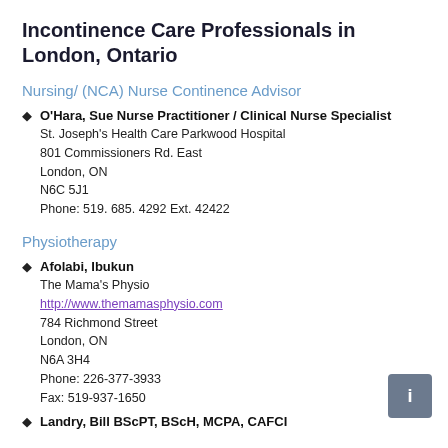Incontinence Care Professionals in London, Ontario
Nursing/ (NCA) Nurse Continence Advisor
O'Hara, Sue Nurse Practitioner / Clinical Nurse Specialist
St. Joseph's Health Care Parkwood Hospital
801 Commissioners Rd. East
London, ON
N6C 5J1
Phone: 519. 685. 4292 Ext. 42422
Physiotherapy
Afolabi, Ibukun
The Mama's Physio
http://www.themamasphysio.com
784 Richmond Street
London, ON
N6A 3H4
Phone: 226-377-3933
Fax: 519-937-1650
Landry, Bill BScPT, BScH, MCPA, CAFCI